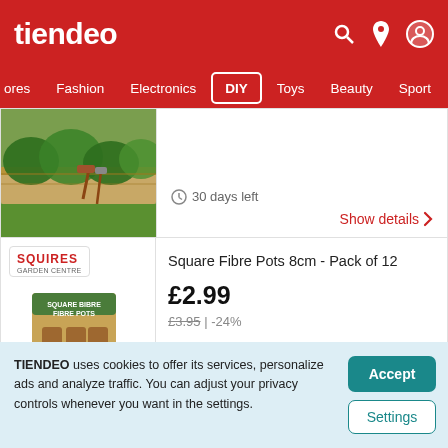tiendeo
ores   Fashion   Electronics   DIY   Toys   Beauty   Sport   R
[Figure (photo): Garden raised bed with wood border and plants, gardening tools visible]
30 days left
Show details >
Square Fibre Pots 8cm - Pack of 12
£2.99
£3.95 | -24%
[Figure (photo): Squires Garden Centre branded square fibre pots product box showing brown fibre pots]
TIENDEO uses cookies to offer its services, personalize ads and analyze traffic. You can adjust your privacy controls whenever you want in the settings.